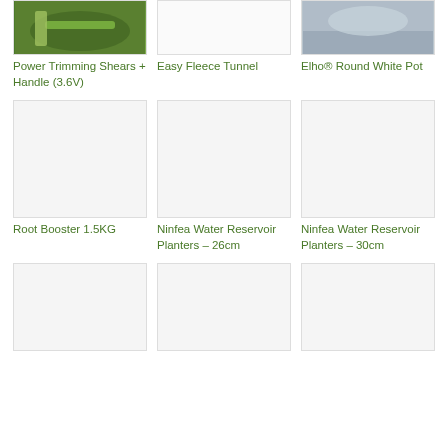[Figure (photo): Power Trimming Shears product image - green garden tool]
Power Trimming Shears + Handle (3.6V)
[Figure (photo): Easy Fleece Tunnel product image - white/blank]
Easy Fleece Tunnel
[Figure (photo): Elho Round White Pot product image - grey/white]
Elho® Round White Pot
[Figure (photo): Root Booster product image - blank/white]
Root Booster 1.5KG
[Figure (photo): Ninfea Water Reservoir Planters 26cm - blank/white]
Ninfea Water Reservoir Planters – 26cm
[Figure (photo): Ninfea Water Reservoir Planters 30cm - blank/white]
Ninfea Water Reservoir Planters – 30cm
[Figure (photo): Bottom row left product image]
[Figure (photo): Bottom row center product image]
[Figure (photo): Bottom row right product image]